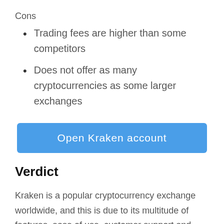Cons
Trading fees are higher than some competitors
Does not offer as many cryptocurrencies as some larger exchanges
[Figure (other): Blue button reading 'Open Kraken account']
Verdict
Kraken is a popular cryptocurrency exchange worldwide, and this is due to its multitude of features, ease of use, customer support and top-notch security. With support of over 185+